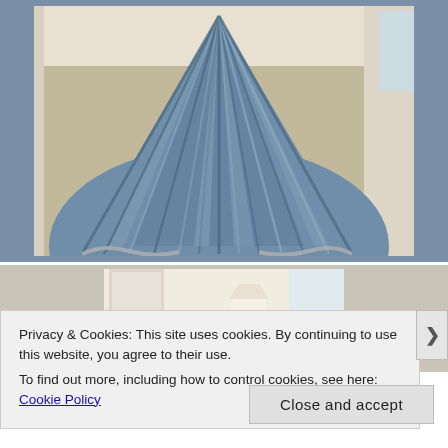[Figure (photo): A blue-grey striped satin/taffeta fabric spread out on a floor, showing the skirt of a dress fanned out. Decorative trim visible at the edges. Photographed from above in an indoor setting.]
[Figure (photo): Partially visible second photo showing an interior room with a lamp and beige/white walls and furniture.]
Privacy & Cookies: This site uses cookies. By continuing to use this website, you agree to their use.
To find out more, including how to control cookies, see here: Cookie Policy
Close and accept